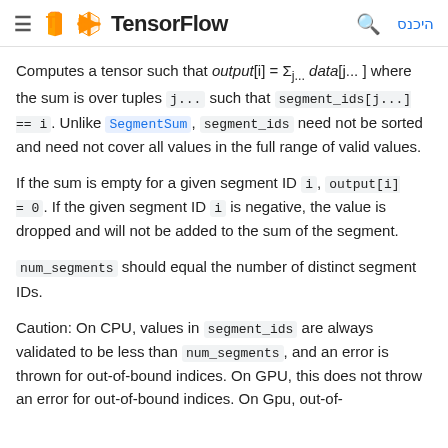≡ TensorFlow  🔍  היכנס
Computes a tensor such that output[i] = Σ_{j...} data[j...] where the sum is over tuples j... such that segment_ids[j...] == i. Unlike SegmentSum, segment_ids need not be sorted and need not cover all values in the full range of valid values.
If the sum is empty for a given segment ID i, output[i] = 0. If the given segment ID i is negative, the value is dropped and will not be added to the sum of the segment.
num_segments should equal the number of distinct segment IDs.
Caution: On CPU, values in segment_ids are always validated to be less than num_segments, and an error is thrown for out-of-bound indices. On GPU, this does not throw an error for out-of-bound indices. On Gpu, out-of-bound indices result in safe but unspecified behavior, which may include ignoring out-of-bound indices or outputting a sum of the values at the out-of-bound index and the valid range.